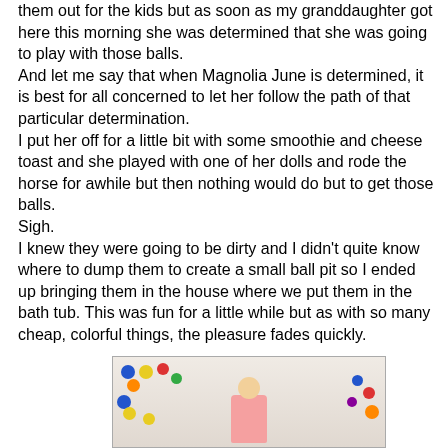them out for the kids but as soon as my granddaughter got here this morning she was determined that she was going to play with those balls.
And let me say that when Magnolia June is determined, it is best for all concerned to let her follow the path of that particular determination.
I put her off for a little bit with some smoothie and cheese toast and she played with one of her dolls and rode the horse for awhile but then nothing would do but to get those balls.
Sigh.
I knew they were going to be dirty and I didn't quite know where to dump them to create a small ball pit so I ended up bringing them in the house where we put them in the bath tub. This was fun for a little while but as with so many cheap, colorful things, the pleasure fades quickly.
[Figure (photo): A young girl with blonde hair wearing a pink shirt, sitting in a bathtub filled with colorful plastic balls (blue, yellow, red, orange, green).]